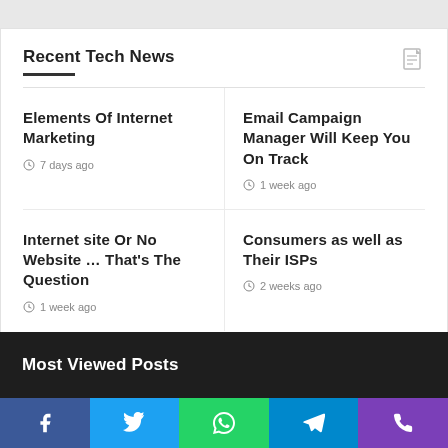Recent Tech News
Elements Of Internet Marketing
7 days ago
Email Campaign Manager Will Keep You On Track
1 week ago
Internet site Or No Website … That's The Question
1 week ago
Consumers as well as Their ISPs
2 weeks ago
Most Viewed Posts